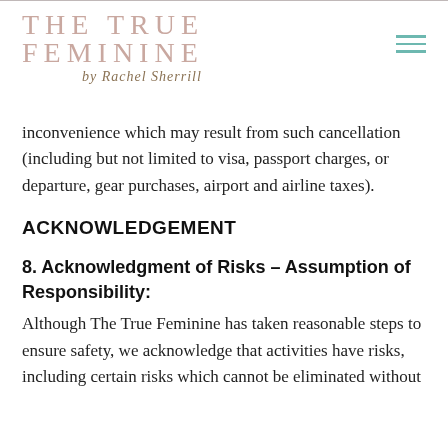THE TRUE FEMININE by Rachel Sherrill
inconvenience which may result from such cancellation (including but not limited to visa, passport charges, or departure, gear purchases, airport and airline taxes).
ACKNOWLEDGEMENT
8. Acknowledgment of Risks – Assumption of Responsibility:
Although The True Feminine has taken reasonable steps to ensure safety, we acknowledge that activities have risks, including certain risks which cannot be eliminated without